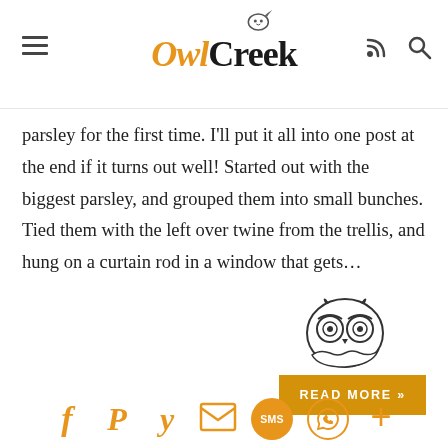Owl Creek (logo header with hamburger menu, RSS and search icons)
parsley for the first time. I'll put it all into one post at the end if it turns out well! Started out with the biggest parsley, and grouped them into small bunches. Tied them with the left over twine from the trellis, and hung on a curtain rod in a window that gets…
READ MORE »
[Figure (logo): Owl Creek owl logo illustration - line drawing of an owl face with glasses]
[Figure (infographic): Social sharing icons bar: Facebook, Pinterest, Yummly, Email, SMS, WhatsApp, More (plus sign) — all in orange/golden color]